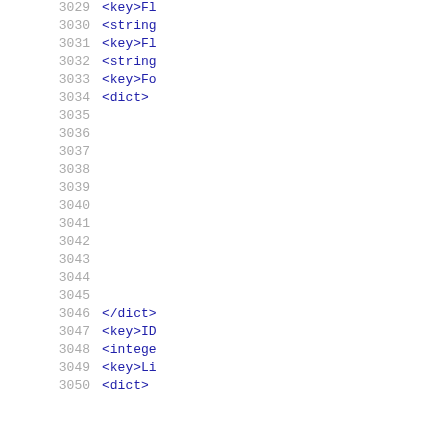3029  <key>Fl
3030  <string
3031  <key>Fl
3032  <string
3033  <key>Fo
3034  <dict>
3035
3036
3037
3038
3039
3040
3041
3042
3043
3044
3045
3046  </dict>
3047  <key>ID
3048  <intege
3049  <key>Li
3050  <dict>